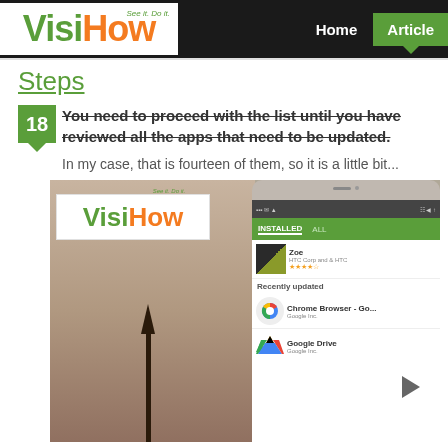VisiHow - See it. Do it. | Home | Articles
Steps
18. You need to proceed with the list until you have reviewed all the apps that need to be updated.
In my case, that is fourteen of them, so it is a little bit...
[Figure (screenshot): Screenshot showing a VisiHow watermark overlaid on a city landscape photo on the left, and a smartphone screen on the right displaying the Google Play Store with apps listed under INSTALLED tab including Zoe and recently updated Chrome Browser and Google Drive]